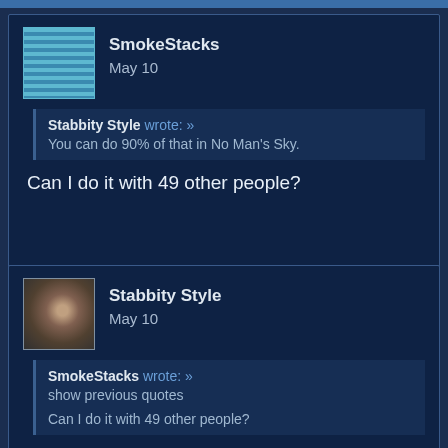SmokeStacks
May 10
Stabbity Style wrote: »
You can do 90% of that in No Man's Sky.
Can I do it with 49 other people?
Stabbity Style
May 10
SmokeStacks wrote: »
show previous quotes
Can I do it with 49 other people?
32 total in an instance.